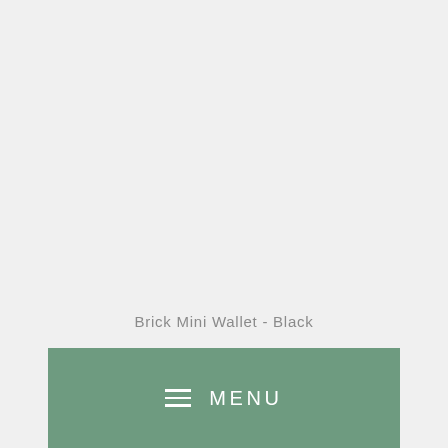Brick Mini Wallet - Black
≡  MENU